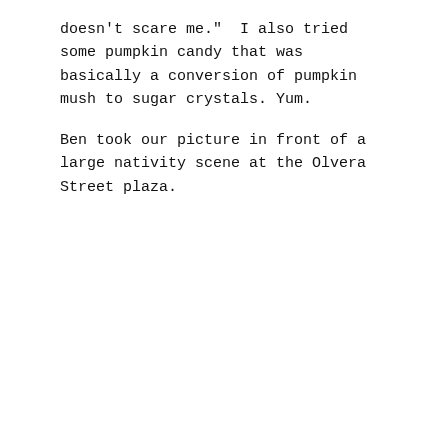doesn't scare me.”  I also tried some pumpkin candy that was basically a conversion of pumpkin mush to sugar crystals. Yum.
Ben took our picture in front of a large nativity scene at the Olvera Street plaza.